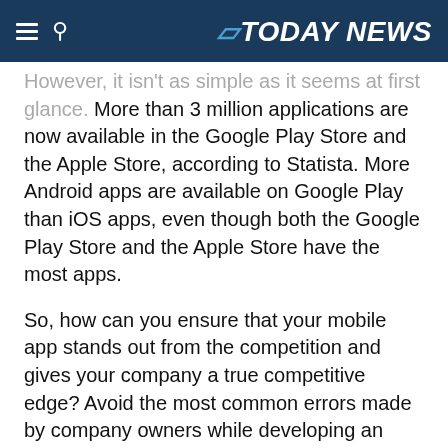TODAY NEWS
However, it isn't as simple as it seems at first glance. More than 3 million applications are now available in the Google Play Store and the Apple Store, according to Statista. More Android apps are available on Google Play than iOS apps, even though both the Google Play Store and the Apple Store have the most apps.
So, how can you ensure that your mobile app stands out from the competition and gives your company a true competitive edge? Avoid the most common errors made by company owners while developing an app.
Mobile App Development Mistakes to Avoid for Your Business